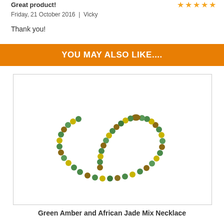Great product!
Friday, 21 October 2016  |  Vicky
Thank you!
YOU MAY ALSO LIKE....
[Figure (photo): A green amber and African jade mix necklace with alternating green jade and yellow-green amber beads arranged in a curved shape on a white background.]
Green Amber and African Jade Mix Necklace